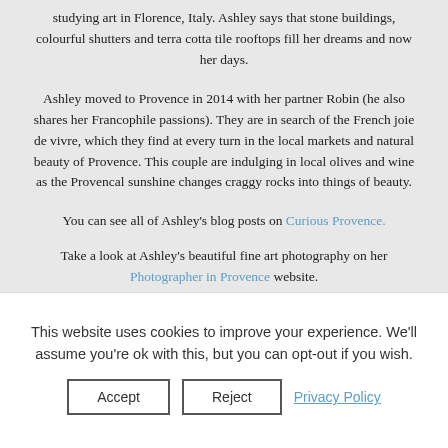studying art in Florence, Italy. Ashley says that stone buildings, colourful shutters and terra cotta tile rooftops fill her dreams and now her days.
Ashley moved to Provence in 2014 with her partner Robin (he also shares her Francophile passions). They are in search of the French joie de vivre, which they find at every turn in the local markets and natural beauty of Provence. This couple are indulging in local olives and wine as the Provencal sunshine changes craggy rocks into things of beauty.
You can see all of Ashley's blog posts on Curious Provence.
Take a look at Ashley's beautiful fine art photography on her Photographer in Provence website.
This website uses cookies to improve your experience. We'll assume you're ok with this, but you can opt-out if you wish.